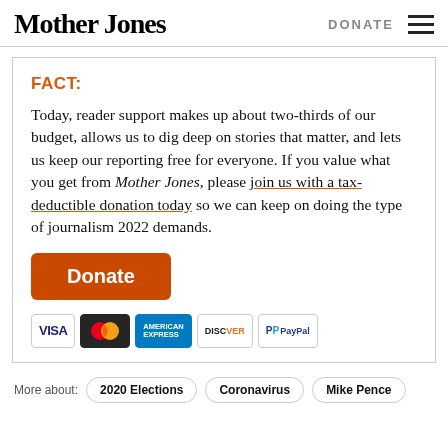Mother Jones | DONATE
FACT:
Today, reader support makes up about two-thirds of our budget, allows us to dig deep on stories that matter, and lets us keep our reporting free for everyone. If you value what you get from Mother Jones, please join us with a tax-deductible donation today so we can keep on doing the type of journalism 2022 demands.
[Figure (other): Orange Donate button followed by payment method icons: VISA, MasterCard, American Express, Discover, PayPal]
More about: 2020 Elections | Coronavirus | Mike Pence